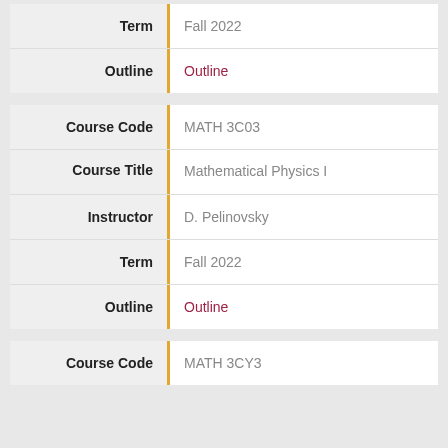| Field | Value |
| --- | --- |
| Term | Fall 2022 |
| Outline | Outline |
| Field | Value |
| --- | --- |
| Course Code | MATH 3C03 |
| Course Title | Mathematical Physics I |
| Instructor | D. Pelinovsky |
| Term | Fall 2022 |
| Outline | Outline |
| Field | Value |
| --- | --- |
| Course Code | MATH 3CY3 |